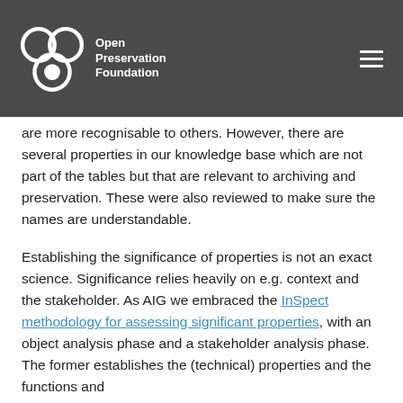Open Preservation Foundation
are more recognisable to others. However, there are several properties in our knowledge base which are not part of the tables but that are relevant to archiving and preservation. These were also reviewed to make sure the names are understandable.
Establishing the significance of properties is not an exact science. Significance relies heavily on e.g. context and the stakeholder. As AIG we embraced the InSpect methodology for assessing significant properties, with an object analysis phase and a stakeholder analysis phase. The former establishes the (technical) properties and the functions and